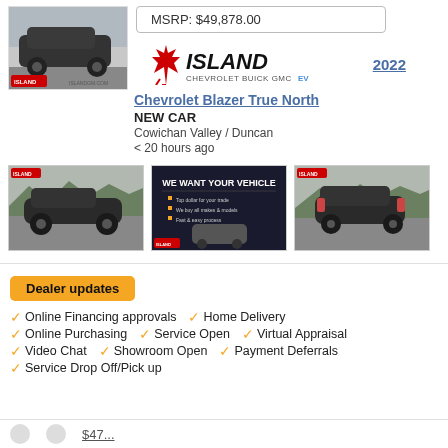[Figure (photo): Front view of a dark SUV, Island GM dealership thumbnail]
MSRP: $49,878.00
[Figure (logo): Island Chevrolet Buick GMC EV logo with red maple leaf]
2022
Chevrolet Blazer True North
NEW CAR
Cowichan Valley / Duncan
< 20 hours ago
[Figure (photo): Side view of dark Chevrolet Blazer SUV outdoors]
[Figure (photo): We Want Your Vehicle promotional image with car]
[Figure (photo): Rear three-quarter view of dark Chevrolet Blazer SUV]
Dealer updates
Online Financing approvals
Home Delivery
Online Purchasing
Service Open
Virtual Appraisal
Video Chat
Showroom Open
Payment Deferrals
Service Drop Off/Pick up